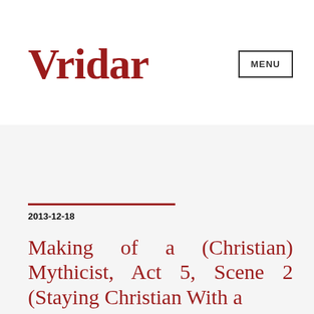Vridar
Day: December 18, 2013
2013-12-18
Making of a (Christian) Mythicist, Act 5, Scene 2 (Staying Christian With a